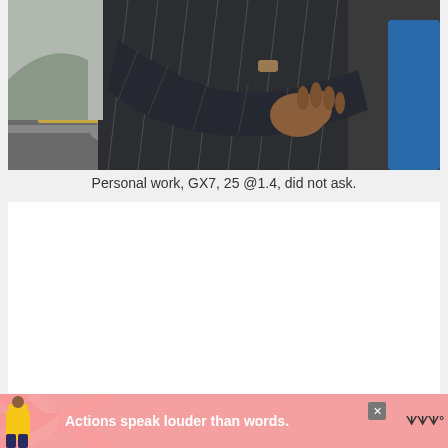[Figure (photo): Close-up photo of a person in a dark pinstripe suit with arms crossed, standing outdoors near a road. A blue object is visible in the background. Image is cropped showing torso and arms.]
Personal work, GX7, 25 @1.4, did not ask.
[Figure (other): White blank content area below the caption, likely a comment section or additional content area that is empty.]
[Figure (other): Advertisement banner at the bottom of the page. Pink/salmon background with decorative rays. Shows a person in yellow clothing on the left, bold white text reading 'Actions speak louder than words.' in the center, a close button (X), and a logo on the right.]